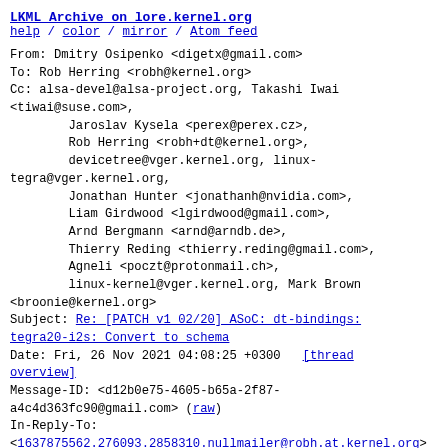LKML Archive on lore.kernel.org
help / color / mirror / Atom feed
From: Dmitry Osipenko <digetx@gmail.com>
To: Rob Herring <robh@kernel.org>
Cc: alsa-devel@alsa-project.org, Takashi Iwai <tiwai@suse.com>,
        Jaroslav Kysela <perex@perex.cz>,
        Rob Herring <robh+dt@kernel.org>,
        devicetree@vger.kernel.org, linux-tegra@vger.kernel.org,
        Jonathan Hunter <jonathanh@nvidia.com>,
        Liam Girdwood <lgirdwood@gmail.com>,
        Arnd Bergmann <arnd@arndb.de>,
        Thierry Reding <thierry.reding@gmail.com>,
        Agneli <poczt@protonmail.ch>,
        linux-kernel@vger.kernel.org, Mark Brown <broonie@kernel.org>
Subject: Re: [PATCH v1 02/20] ASoC: dt-bindings: tegra20-i2s: Convert to schema
Date: Fri, 26 Nov 2021 04:08:25 +0300    [thread overview]
Message-ID: <d12b0e75-4605-b65a-2f87-a4c4d363fc90@gmail.com> (raw)
In-Reply-To:
<1637875562.276093.2858310.nullmailer@robh.at.kernel.org>
26.11.2021 00:26, Rob Herring пишет:
> On Thu, 25 Nov 2021 01:00:39 +0300, Dmitry Osipenko wrote: